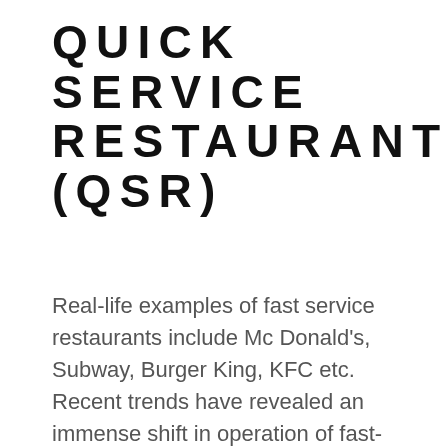QUICK SERVICE RESTAURANT (QSR)
Real-life examples of fast service restaurants include Mc Donald’s, Subway, Burger King, KFC etc. Recent trends have revealed an immense shift in operation of fast-food restaurants in the local area. Due to the increase in food delivery services and restaurants, they have been making a separate section of food items, which are prepared in bulk and later stored for delivery